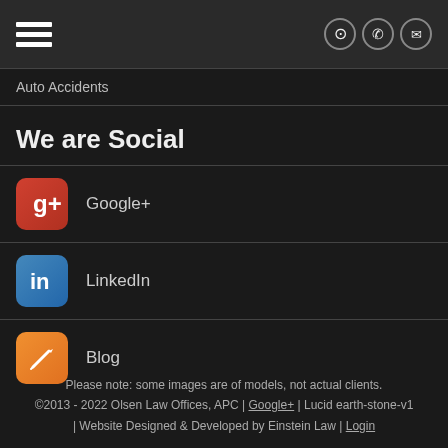Auto Accidents
We are Social
Google+
LinkedIn
Blog
Please note: some images are of models, not actual clients. ©2013 - 2022 Olsen Law Offices, APC | Google+ | Lucid earth-stone-v1 | Website Designed & Developed by Einstein Law | Login